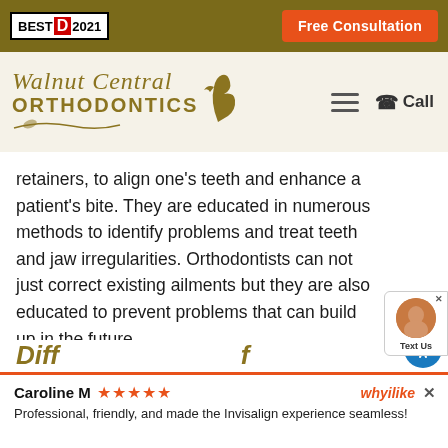BEST D 2021 | Free Consultation
[Figure (logo): Walnut Central Orthodontics logo with stylized script and bird illustration, gold/olive color scheme]
retainers, to align one's teeth and enhance a patient's bite. They are educated in numerous methods to identify problems and treat teeth and jaw irregularities. Orthodontists can not just correct existing ailments but they are also educated to prevent problems that can build up in the future.
Caroline M ★★★★★  whyilike  ×
Professional, friendly, and made the Invisalign experience seamless!